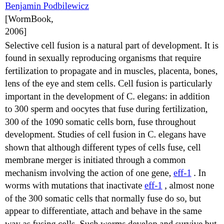Benjamin Podbilewicz
[WormBook, 2006]
Selective cell fusion is a natural part of development. It is found in sexually reproducing organisms that require fertilization to propagate and in muscles, placenta, bones, lens of the eye and stem cells. Cell fusion is particularly important in the development of C. elegans: in addition to 300 sperm and oocytes that fuse during fertilization, 300 of the 1090 somatic cells born, fuse throughout development. Studies of cell fusion in C. elegans have shown that although different types of cells fuse, cell membrane merger is initiated through a common mechanism involving the action of one gene, eff-1 . In worms with mutations that inactivate eff-1 , almost none of the 300 somatic cells that normally fuse do so, but appear to differentiate, attach and behave in the same way as fusing cells. Such worms develop and survive but have numerous morphological, behavioral and fertility defects associated to cell fusion failure in the epidermis, pharynx, male tail, vulva and uterus. Cell fusion in embryonic dorsal epithelial cells has been analyzed in great detail by confocal microscopy using membrane fluorescent probes, apical junction markers and cytoplasmic aqueous fluorescent probes allowing the direct observation of membrane disappearance, pore expansion and cytoplasmic content mixing. The complete elimination of the